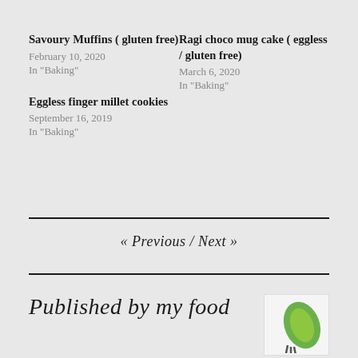Savoury Muffins ( gluten free)
February 10, 2020
In "Baking"
Ragi choco mug cake ( eggless / gluten free)
March 6, 2020
In "Baking"
Eggless finger millet cookies
September 16, 2019
In "Baking"
« Previous  /  Next »
Published by my food